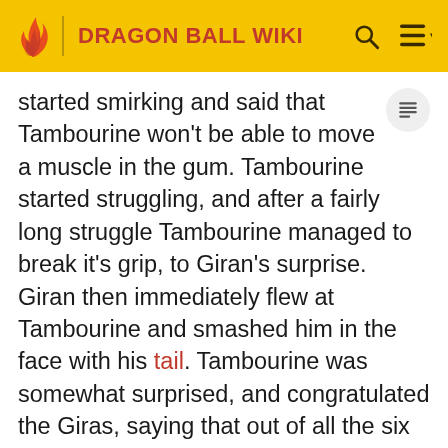DRAGON BALL WIKI
started smirking and said that Tambourine won't be able to move a muscle in the gum. Tambourine started struggling, and after a fairly long struggle Tambourine managed to break it's grip, to Giran's surprise. Giran then immediately flew at Tambourine and smashed him in the face with his tail. Tambourine was somewhat surprised, and congratulated the Giras, saying that out of all the six other martial artists Tambourine killed, Giran was the only one to hit him. Tambourine then retaliated by ramming his hand clear through Giran's body, and officially committing his seventh murder. After killing Giran and licking the blood off his hands, Tambourine killed one of the bears who thanked him before coldly telling the son that he killed the papa bear for fun. Tambourine then went to